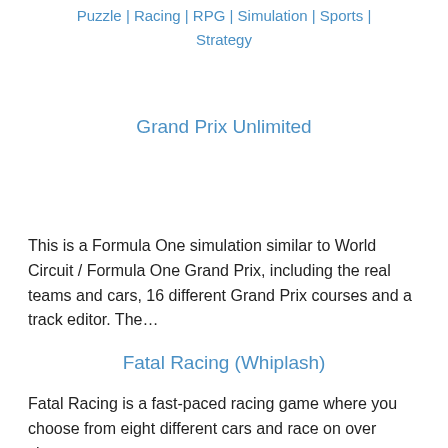Puzzle | Racing | RPG | Simulation | Sports | Strategy
Grand Prix Unlimited
This is a Formula One simulation similar to World Circuit / Formula One Grand Prix, including the real teams and cars, 16 different Grand Prix courses and a track editor. The…
Fatal Racing (Whiplash)
Fatal Racing is a fast-paced racing game where you choose from eight different cars and race on over sixteen